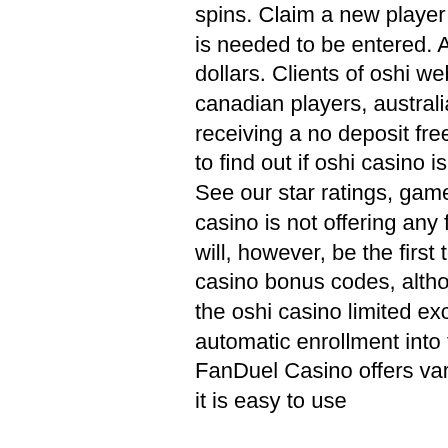spins. Claim a new player welcome package now! No oshi bonus code is needed to be entered. A minimal deposit for the activation is 10 dollars. Clients of oshi webpage will receive a. Just like in case with canadian players, australian players in oshi casino can also count on receiving a no deposit free spins bonus upon sign up. Read our review to find out if oshi casino is the right bitcoin casino for your playing style. See our star ratings, game options, &amp; which cryptos to use. Oshi casino is not offering any free spins no deposit bonus at present. We will, however, be the first to know if this ever changes! Do not need oshi casino bonus codes, although there is an oshi casino no deposit. Get the oshi casino limited exclusive 15 free spins no deposit required + automatic enrollment into the oshi tournaments FanDuel Casino offers various games such as Blackjack and Slots, and it is easy to use